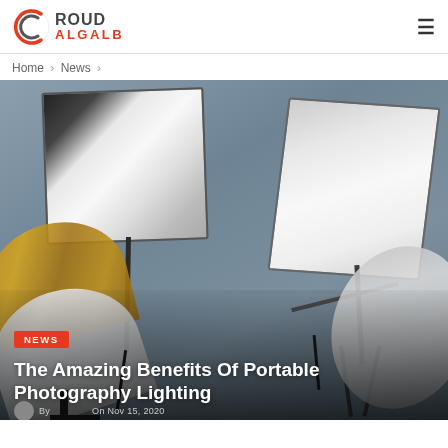ROUD ALGALB
Home > News >
[Figure (photo): Photography studio lighting equipment including softboxes, umbrellas, and reflectors on stands against a gray background]
NEWS
The Amazing Benefits Of Portable Photography Lighting